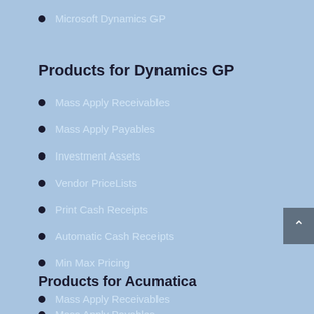Microsoft Dynamics GP
Products for Dynamics GP
Mass Apply Receivables
Mass Apply Payables
Investment Assets
Vendor PriceLists
Print Cash Receipts
Automatic Cash Receipts
Min Max Pricing
Products for Acumatica
Mass Apply Receivables
Mass Apply Payables